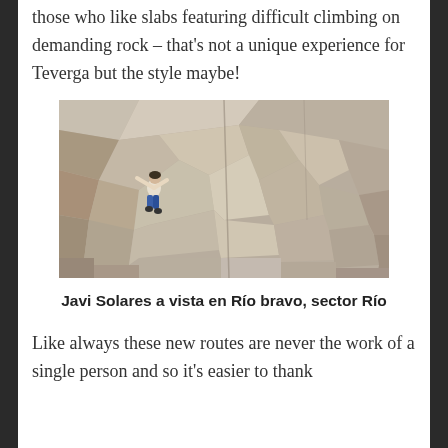those who like slabs featuring difficult climbing on demanding rock – that's not a unique experience for Teverga but the style maybe!
[Figure (photo): A rock climber in blue pants scaling a large grey limestone slab/cliff face at Río bravo, sector Río]
Javi Solares a vista en Río bravo, sector Río
Like always these new routes are never the work of a single person and so it's easier to thank